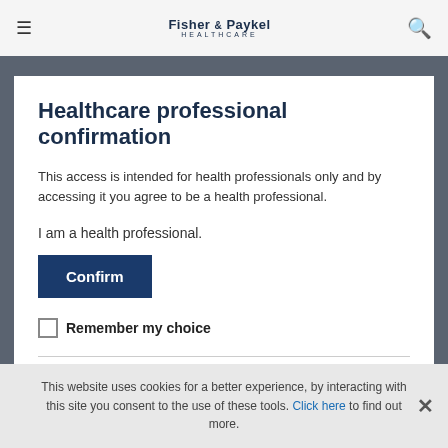Fisher & Paykel HEALTHCARE
Healthcare professional confirmation
This access is intended for health professionals only and by accessing it you agree to be a health professional.
I am a health professional.
Confirm
Remember my choice
[Figure (logo): Fisher & Paykel Healthcare logo in blue]
This website uses cookies for a better experience, by interacting with this site you consent to the use of these tools. Click here to find out more.